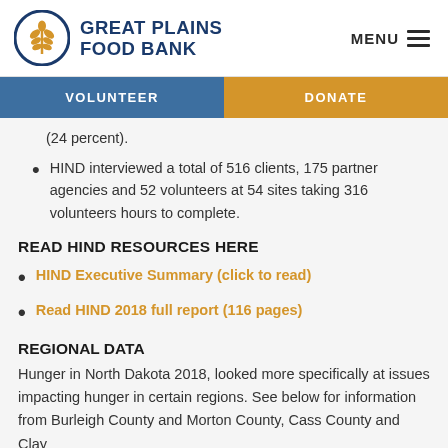[Figure (logo): Great Plains Food Bank logo with wheat/grain icon in golden yellow inside a navy blue circle, with text GREAT PLAINS FOOD BANK]
(24 percent).
HIND interviewed a total of 516 clients, 175 partner agencies and 52 volunteers at 54 sites taking 316 volunteers hours to complete.
READ HIND RESOURCES HERE
HIND Executive Summary (click to read)
Read HIND 2018 full report (116 pages)
REGIONAL DATA
Hunger in North Dakota 2018, looked more specifically at issues impacting hunger in certain regions. See below for information from Burleigh County and Morton County, Cass County and Clay